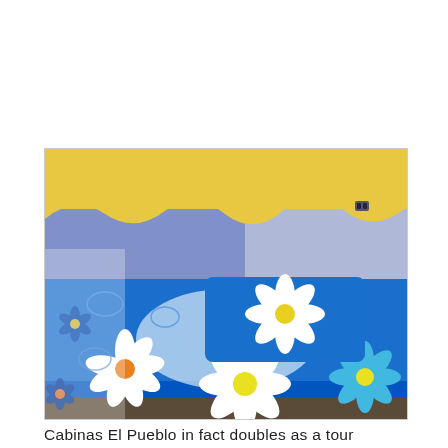[Figure (photo): A bed with a bright blue floral bedspread and matching pillow in a room with blue and yellow painted walls. The bedspread features white daisy-like flowers with yellow and blue centers on a royal blue background.]
Cabinas El Pueblo in fact doubles as a tour